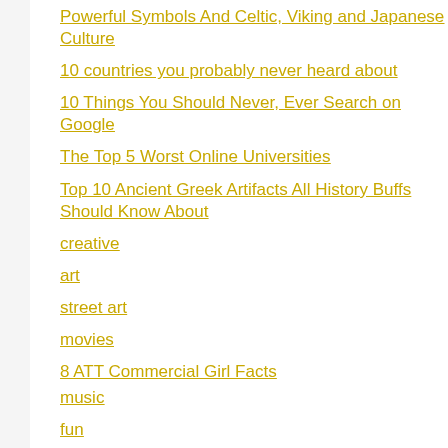Powerful Symbols And Celtic, Viking and Japanese Culture
10 countries you probably never heard about
10 Things You Should Never, Ever Search on Google
The Top 5 Worst Online Universities
Top 10 Ancient Greek Artifacts All History Buffs Should Know About
creative
art
street art
movies
8 ATT Commercial Girl Facts
music
fun
Top 30 Funniest New Years Resolutions